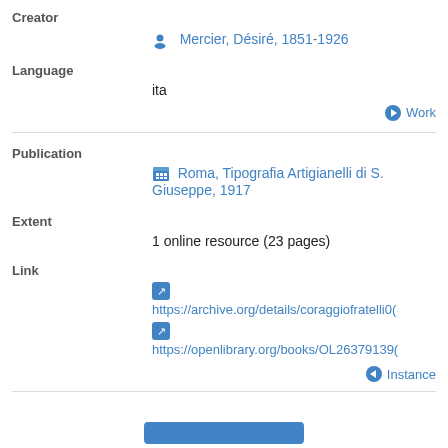Creator
Mercier, Désiré, 1851-1926
Language
ita
Work
Publication
Roma, Tipografia Artigianelli di S. Giuseppe, 1917
Extent
1 online resource (23 pages)
Link
https://archive.org/details/coraggiofratelli0(
https://openlibrary.org/books/OL26379139(
Instance